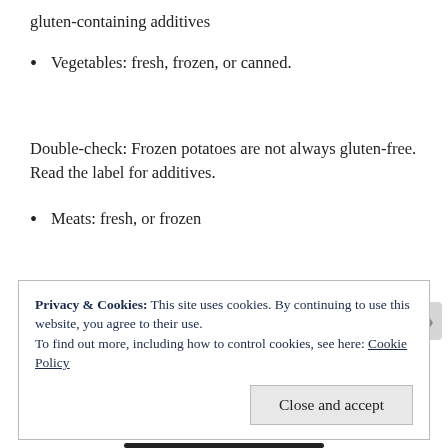gluten-containing additives
Vegetables: fresh, frozen, or canned.
Double-check: Frozen potatoes are not always gluten-free. Read the label for additives.
Meats: fresh, or frozen
Privacy & Cookies: This site uses cookies. By continuing to use this website, you agree to their use.
To find out more, including how to control cookies, see here: Cookie Policy